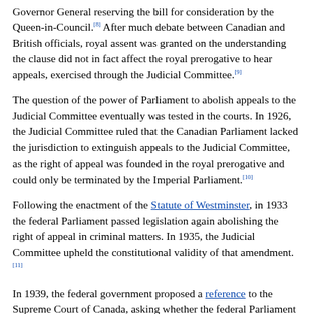Governor General reserving the bill for consideration by the Queen-in-Council.[8] After much debate between Canadian and British officials, royal assent was granted on the understanding the clause did not in fact affect the royal prerogative to hear appeals, exercised through the Judicial Committee.[9]
The question of the power of Parliament to abolish appeals to the Judicial Committee eventually was tested in the courts. In 1926, the Judicial Committee ruled that the Canadian Parliament lacked the jurisdiction to extinguish appeals to the Judicial Committee, as the right of appeal was founded in the royal prerogative and could only be terminated by the Imperial Parliament.[10]
Following the enactment of the Statute of Westminster, in 1933 the federal Parliament passed legislation again abolishing the right of appeal in criminal matters. In 1935, the Judicial Committee upheld the constitutional validity of that amendment.[11]
In 1939, the federal government proposed a reference to the Supreme Court of Canada, asking whether the federal Parliament could terminate all appeals to the Judicial Committee. By a 4–2 decision, the Supreme Court held that the proposal was within the powers of the federal Parliament and would be constitutional.[12] The question was then appealed to the Judicial Committee, but the